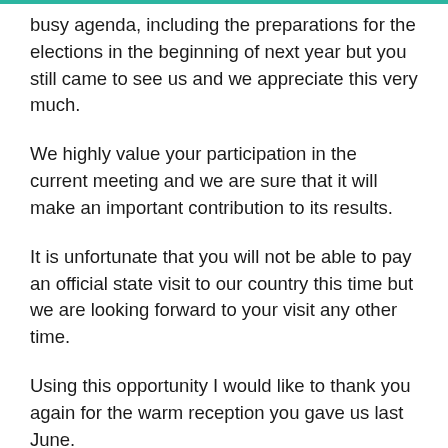busy agenda, including the preparations for the elections in the beginning of next year but you still came to see us and we appreciate this very much.
We highly value your participation in the current meeting and we are sure that it will make an important contribution to its results.
It is unfortunate that you will not be able to pay an official state visit to our country this time but we are looking forward to your visit any other time.
Using this opportunity I would like to thank you again for the warm reception you gave us last June.
I would also like to thank you for your understanding and assistance to our people who suffered damage from the Damri typhoon recently. We highly appreciate the aid extended to us by Russia as well as other countries